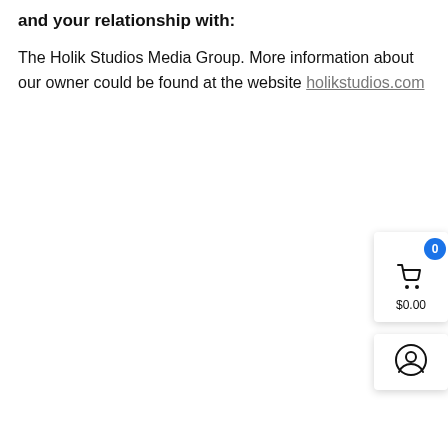and your relationship with:
The Holik Studios Media Group. More information about our owner could be found at the website holikstudios.com
[Figure (screenshot): Shopping cart widget showing a blue badge with '0', a cart icon, and '$0.00' price label on a white card panel]
[Figure (screenshot): User account icon on a white card panel]